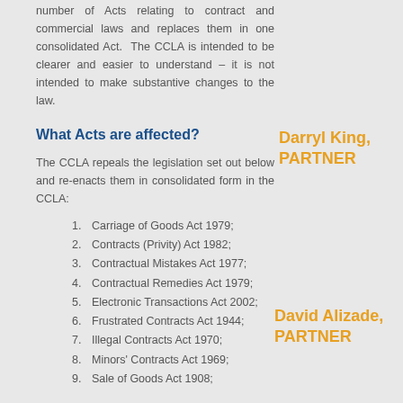number of Acts relating to contract and commercial laws and replaces them in one consolidated Act. The CCLA is intended to be clearer and easier to understand – it is not intended to make substantive changes to the law.
What Acts are affected?
The CCLA repeals the legislation set out below and re-enacts them in consolidated form in the CCLA:
Carriage of Goods Act 1979;
Contracts (Privity) Act 1982;
Contractual Mistakes Act 1977;
Contractual Remedies Act 1979;
Electronic Transactions Act 2002;
Frustrated Contracts Act 1944;
Illegal Contracts Act 1970;
Minors' Contracts Act 1969;
Sale of Goods Act 1908;
Darryl King, PARTNER
David Alizade, PARTNER